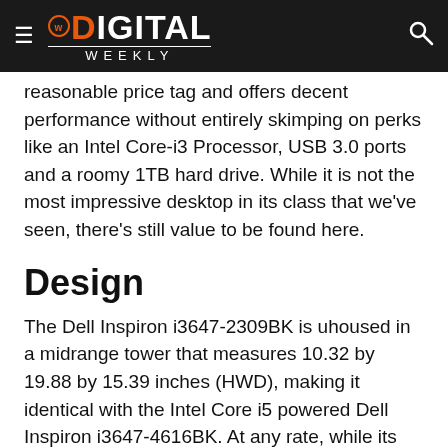DIGITAL WEEKLY
reasonable price tag and offers decent performance without entirely skimping on perks like an Intel Core-i3 Processor, USB 3.0 ports and a roomy 1TB hard drive. While it is not the most impressive desktop in its class that we've seen, there's still value to be found here.
Design
The Dell Inspiron i3647-2309BK is uhoused in a midrange tower that measures 10.32 by 19.88 by 15.39 inches (HWD), making it identical with the Intel Core i5 powered Dell Inspiron i3647-4616BK. At any rate, while its chassis isn't exactly the flashiest, its subdued aesthetic isn't entirely devoid of personality, either. The black metallic body is complemented by dashes of two LED lights on the upper light and a silver power button and a Dell logo at the mid-bottom.